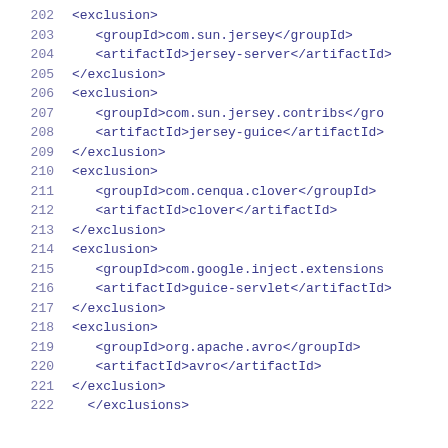202    <exclusion>
203        <groupId>com.sun.jersey</groupId>
204        <artifactId>jersey-server</artifactId>
205    </exclusion>
206    <exclusion>
207        <groupId>com.sun.jersey.contribs</gro
208        <artifactId>jersey-guice</artifactId>
209    </exclusion>
210    <exclusion>
211        <groupId>com.cenqua.clover</groupId>
212        <artifactId>clover</artifactId>
213    </exclusion>
214    <exclusion>
215        <groupId>com.google.inject.extensions
216        <artifactId>guice-servlet</artifactId
217    </exclusion>
218    <exclusion>
219        <groupId>org.apache.avro</groupId>
220        <artifactId>avro</artifactId>
221    </exclusion>
222    </exclusions>